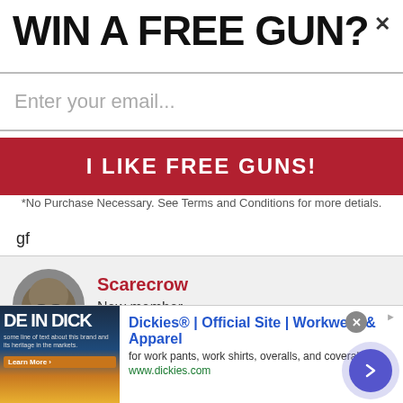WIN A FREE GUN?×
Enter your email...
I LIKE FREE GUNS!
*No Purchase Necessary. See Terms and Conditions for more detials.
gf
Scarecrow
New member
Feb 19, 2008   #9
nice letter, hopefully people will realize their mistakes from
Dickies® | Official Site | Workwear & Apparel
for work pants, work shirts, overalls, and coveralls.
www.dickies.com